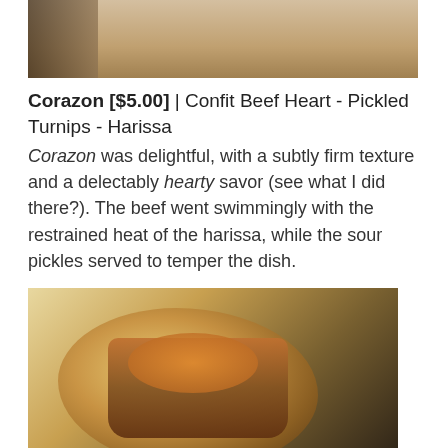[Figure (photo): Partial photo of a taco dish, cropped at top, showing light tortilla and dark filling on white background]
Corazon [$5.00] | Confit Beef Heart - Pickled Turnips - Harissa
Corazon was delightful, with a subtly firm texture and a delectably hearty savor (see what I did there?). The beef went swimmingly with the restrained heat of the harissa, while the sour pickles served to temper the dish.
[Figure (photo): Close-up photo of a Ghost Chili Pork taco in a flour tortilla, filled with braised pork, chile threads, and pork cracklins, on white paper]
Ghost Chili Pork [$5.00] | Braised - Chile Threads - Pork Cracklins
I ended my taco gauntlet with the Ghost Chili Pork. As